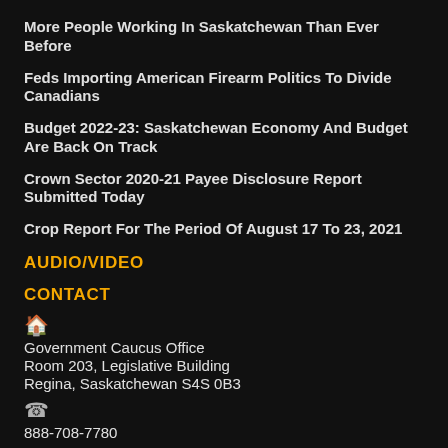More People Working In Saskatchewan Than Ever Before
Feds Importing American Firearm Politics To Divide Canadians
Budget 2022-23: Saskatchewan Economy And Budget Are Back On Track
Crown Sector 2020-21 Payee Disclosure Report Submitted Today
Crop Report For The Period Of August 17 To 23, 2021
AUDIO/VIDEO
CONTACT
Government Caucus Office
Room 203, Legislative Building
Regina, Saskatchewan S4S 0B3
888-708-7780